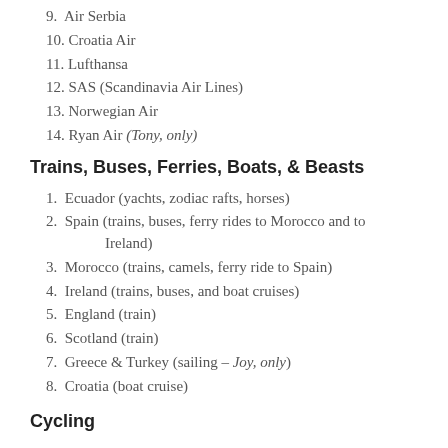9. Air Serbia
10. Croatia Air
11. Lufthansa
12. SAS (Scandinavia Air Lines)
13. Norwegian Air
14. Ryan Air (Tony, only)
Trains, Buses, Ferries, Boats, & Beasts
1. Ecuador (yachts, zodiac rafts, horses)
2. Spain (trains, buses, ferry rides to Morocco and to Ireland)
3. Morocco (trains, camels, ferry ride to Spain)
4. Ireland (trains, buses, and boat cruises)
5. England (train)
6. Scotland (train)
7. Greece & Turkey (sailing – Joy, only)
8. Croatia (boat cruise)
Cycling